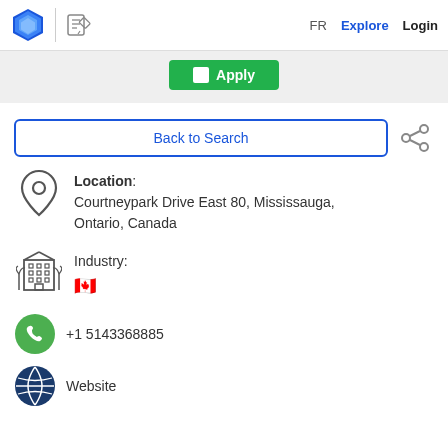FR  Explore  Login
Apply
Back to Search
Location: Courtneypark Drive East 80, Mississauga, Ontario, Canada
Industry:
+1 5143368885
Website